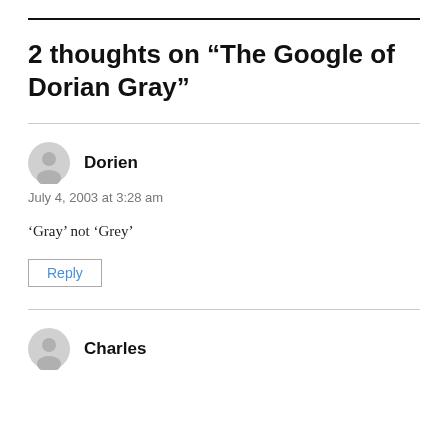2 thoughts on “The Google of Dorian Gray”
Dorien
July 4, 2003 at 3:28 am
‘Gray’ not ‘Grey’
Reply
Charles